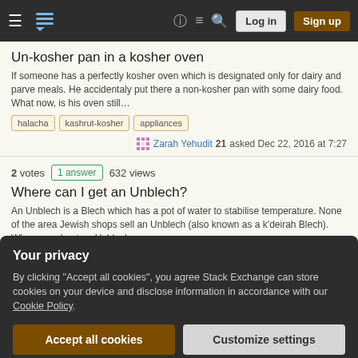Stack Exchange navigation bar with hamburger menu, logo, help, chat, search, Log in, Sign up buttons
Un-kosher pan in a kosher oven
If someone has a perfectly kosher oven which is designated only for dairy and parve meals. He accidentaly put there a non-kosher pan with some dairy food. What now, is his oven still…
halacha
kashrut-kosher
appliances
Zarah Yehudit 21 asked Dec 22, 2016 at 7:27
2 votes  1 answer  632 views
Where can I get an Unblech?
An Unblech is a Blech which has a pot of water to stabilise temperature. None of the area Jewish shops sell an Unblech (also known as a k'deirah Blech). Where can I get an Unblech…
product-recommendation
cooking-bishul
appliances
Your privacy
By clicking "Accept all cookies", you agree Stack Exchange can store cookies on your device and disclose information in accordance with our Cookie Policy.
Accept all cookies
Customize settings